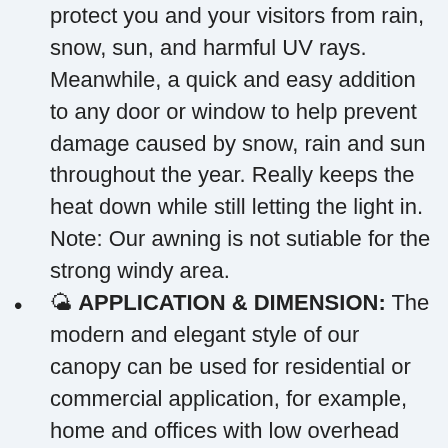protect you and your visitors from rain, snow, sun, and harmful UV rays. Meanwhile, a quick and easy addition to any door or window to help prevent damage caused by snow, rain and sun throughout the year. Really keeps the heat down while still letting the light in. Note: Our awning is not sutiable for the strong windy area.
🌤 APPLICATION & DIMENSION: The modern and elegant style of our canopy can be used for residential or commercial application, for example, home and offices with low overhead clearance.Overall dimension: (39.37 x 29.13 x 9.05)" / (100 x 80 x 23)cm (L x W x H).Note:Please make sure that the size you measure is correct before